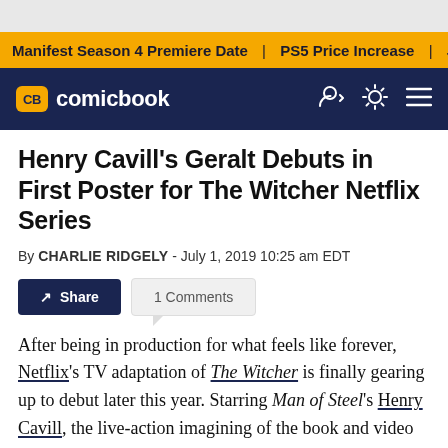Manifest Season 4 Premiere Date | PS5 Price Increase | Jon M
[Figure (logo): CB comicbook logo on dark blue navigation bar with user, brightness, and menu icons]
Henry Cavill's Geralt Debuts in First Poster for The Witcher Netflix Series
By CHARLIE RIDGELY - July 1, 2019 10:25 am EDT
Share | 1 Comments
After being in production for what feels like forever, Netflix's TV adaptation of The Witcher is finally gearing up to debut later this year. Starring Man of Steel's Henry Cavill, the live-action imagining of the book and video game series has been on the radar of every fan for quite a while.